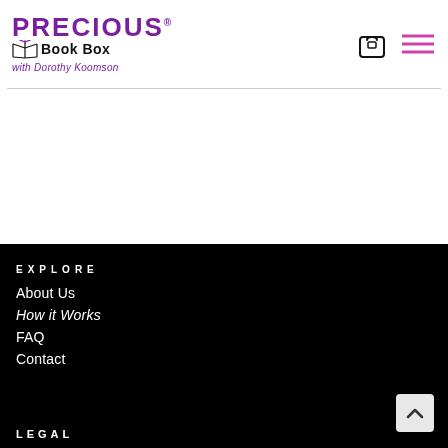PRECIOUS® Book Box with Dorothy Koomson
EXPLORE
About Us
How it Works
FAQ
Contact
LEGAL